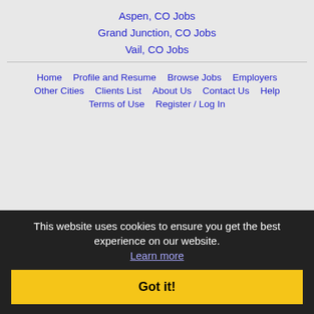Aspen, CO Jobs
Grand Junction, CO Jobs
Vail, CO Jobs
Home  Profile and Resume  Browse Jobs  Employers  Other Cities  Clients List  About Us  Contact Us  Help  Terms of Use  Register / Log In
Copyright © 2001 - 2022 Recruiter Media Corporation - Snowmass Jobs
This website uses cookies to ensure you get the best experience on our website. Learn more
Got it!